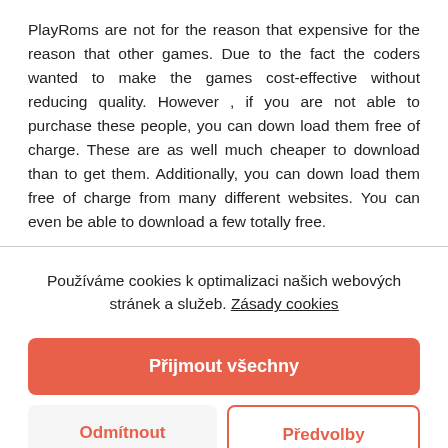PlayRoms are not for the reason that expensive for the reason that other games. Due to the fact the coders wanted to make the games cost-effective without reducing quality. However , if you are not able to purchase these people, you can down load them free of charge. These are as well much cheaper to download than to get them. Additionally, you can down load them free of charge from many different websites. You can even be able to download a few totally free.
Používáme cookies k optimalizaci našich webových stránek a služeb. Zásady cookies
Přijmout všechny
Odmítnout
Předvolby